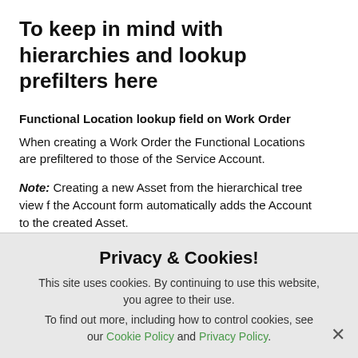To keep in mind with hierarchies and lookup prefilters here
Functional Location lookup field on Work Order
When creating a Work Order the Functional Locations are prefiltered to those of the Service Account.
Note: Creating a new Asset from the hierarchical tree view f the Account form automatically adds the Account to the created Asset.
However creating a new Functional Location from the
Privacy & Cookies!
This site uses cookies. By continuing to use this website, you agree to their use.
To find out more, including how to control cookies, see our Cookie Policy and Privacy Policy.